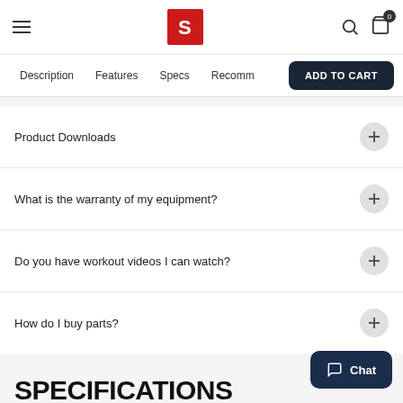Navigation header with hamburger menu, Schwinn logo, search icon, and cart icon
Description  Features  Specs  Recomm  ADD TO CART
Product Downloads
What is the warranty of my equipment?
Do you have workout videos I can watch?
How do I buy parts?
SPECIFICATIONS
TECHNOLOGY